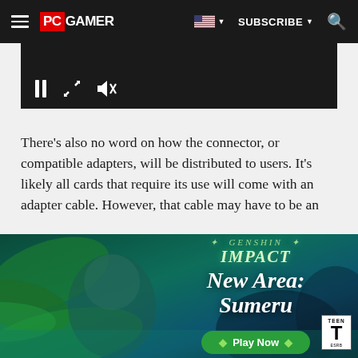PC GAMER | SUBSCRIBE | Search
[Figure (screenshot): Video player controls bar showing pause button, fullscreen/expand icon, and mute icon on dark background]
There's also no word on how the connector, or compatible adapters, will be distributed to users. It's likely all cards that require its use will come with an adapter cable. However, that cable may have to be an
[Figure (illustration): Genshin Impact advertisement banner showing a character in a lush jungle environment with text 'Genshin Impact New Area: Sumeru' and a Play Now button. ESRB Teen rating shown.]